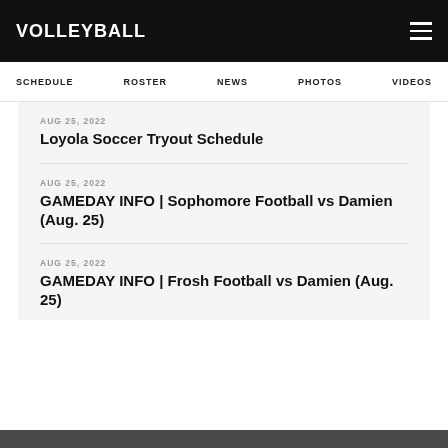VOLLEYBALL
SCHEDULE  ROSTER  NEWS  PHOTOS  VIDEOS
AUG 25, 2022
Loyola Soccer Tryout Schedule
AUG 25, 2022
GAMEDAY INFO | Sophomore Football vs Damien (Aug. 25)
AUG 25, 2022
GAMEDAY INFO | Frosh Football vs Damien (Aug. 25)